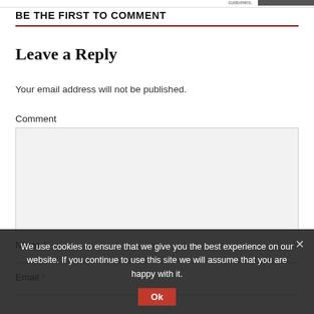BE THE FIRST TO COMMENT
Leave a Reply
Your email address will not be published.
Comment
Name *
Email *
We use cookies to ensure that we give you the best experience on our website. If you continue to use this site we will assume that you are happy with it.